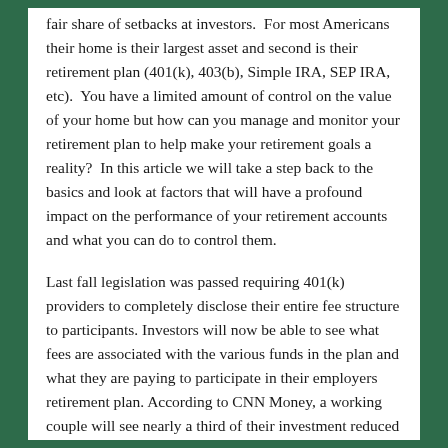fair share of setbacks at investors.  For most Americans their home is their largest asset and second is their retirement plan (401(k), 403(b), Simple IRA, SEP IRA, etc).  You have a limited amount of control on the value of your home but how can you manage and monitor your retirement plan to help make your retirement goals a reality?  In this article we will take a step back to the basics and look at factors that will have a profound impact on the performance of your retirement accounts and what you can do to control them.
Last fall legislation was passed requiring 401(k) providers to completely disclose their entire fee structure to participants. Investors will now be able to see what fees are associated with the various funds in the plan and what they are paying to participate in their employers retirement plan. According to CNN Money, a working couple will see nearly a third of their investment reduced by these fees over their